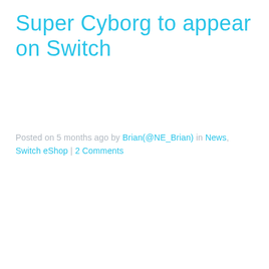Super Cyborg to appear on Switch
Posted on 5 months ago by Brian(@NE_Brian) in News, Switch eShop | 2 Comments